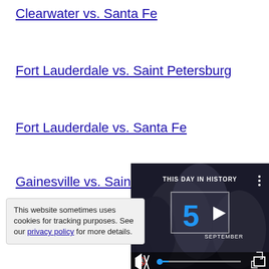Clearwater vs. Santa Fe
Fort Lauderdale vs. Saint Petersburg
Fort Lauderdale vs. Santa Fe
Gainesville vs. Saint Petersburg
Gainesville vs. Santa Fe
Jacksonville vs. Saint Petersburg
Jacksonville vs. S...
This website sometimes uses cookies for tracking purposes. See our privacy policy for more details.
[Figure (screenshot): Video thumbnail showing 'THIS DAY IN HISTORY' with number 5 and SEPTEMBER, dark background with people, play button, mute and fullscreen controls, progress bar]